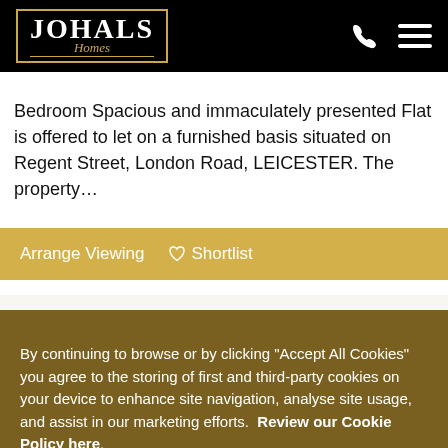JOHALS Homes
Bedroom Spacious and immaculately presented Flat is offered to let on a furnished basis situated on Regent Street, London Road, LEICESTER. The property…
Arrange Viewing  ♡ Shortlist
[Figure (photo): Interior property photo showing a white surface with a small glass or dish, warm neutral tones]
By continuing to browse or by clicking "Accept All Cookies" you agree to the storing of first and third-party cookies on your device to enhance site navigation, analyse site usage, and assist in our marketing efforts. Review our Cookie Policy here.
Deny Cookies   Accept All Cookies